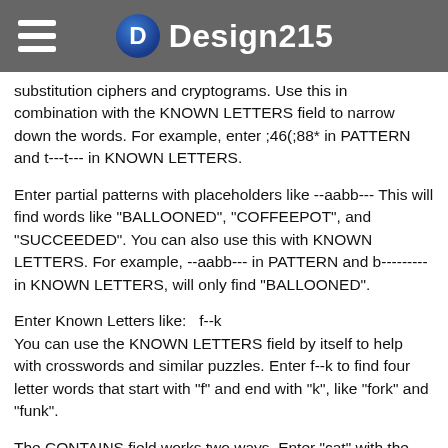Design215
substitution ciphers and cryptograms. Use this in combination with the KNOWN LETTERS field to narrow down the words. For example, enter ;46(;88* in PATTERN and t---t--- in KNOWN LETTERS.
Enter partial patterns with placeholders like --aabb--- This will find words like "BALLOONED", "COFFEEPOT", and "SUCCEEDED". You can also use this with KNOWN LETTERS. For example, --aabb--- in PATTERN and b---------in KNOWN LETTERS, will only find "BALLOONED".
Enter Known Letters like:  f--k
You can use the KNOWN LETTERS field by itself to help with crosswords and similar puzzles. Enter f--k to find four letter words that start with "f" and end with "k", like "fork" and "funk".
The CONTAINS field works two ways. Enter "cat" with the checkbox unchecked, and you'll find words like "catch", "locate", and "tomcat". If "any order" is checked